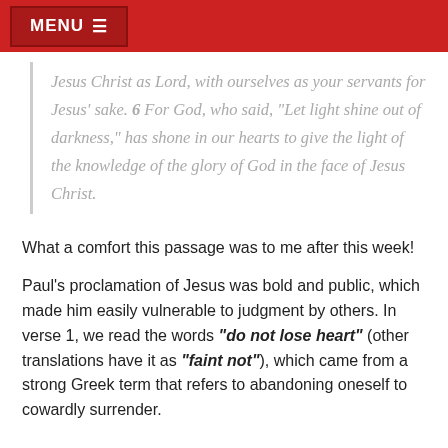MENU
Jesus Christ as Lord, with ourselves as your servants for Jesus' sake. 6 For God, who said, "Let light shine out of darkness," has shone in our hearts to give the light of the knowledge of the glory of God in the face of Jesus Christ.
What a comfort this passage was to me after this week!
Paul's proclamation of Jesus was bold and public, which made him easily vulnerable to judgment by others. In verse 1, we read the words "do not lose heart" (other translations have it as "faint not"), which came from a strong Greek term that refers to abandoning oneself to cowardly surrender.